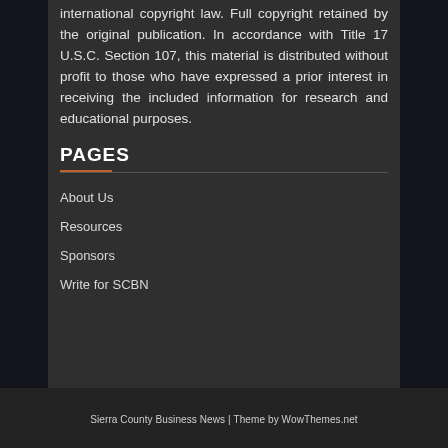Some content reprinted under the Fair Use doctrine of international copyright law. Full copyright retained by the original publication. In accordance with Title 17 U.S.C. Section 107, this material is distributed without profit to those who have expressed a prior interest in receiving the included information for research and educational purposes.
PAGES
About Us
Resources
Sponsors
Write for SCBN
Sierra County Business News | Theme by WowThemes.net